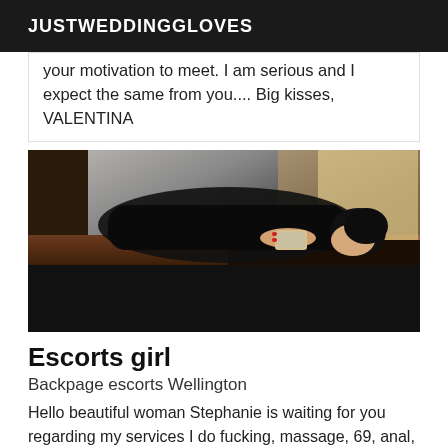JUSTWEDDINGGLOVES
your motivation to meet. I am serious and I expect the same from you.... Big kisses, VALENTINA
[Figure (photo): Woman in black dress taking a mirror selfie, lying across a counter, holding a phone with red nails]
Escorts girl
Backpage escorts Wellington
Hello beautiful woman Stephanie is waiting for you regarding my services I do fucking, massage, 69, anal, suri, vaginal and anal blowish etc.